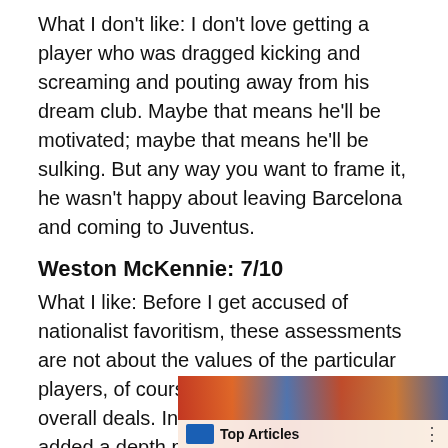What I don't like: I don't love getting a player who was dragged kicking and screaming and pouting away from his dream club. Maybe that means he'll be motivated; maybe that means he'll be sulking. But any way you want to frame it, he wasn't happy about leaving Barcelona and coming to Juventus.
Weston McKennie: 7/10
What I like: Before I get accused of nationalist favoritism, these assessments are not about the values of the particular players, of course, but instead about the overall deals. In McKennie, Juventus added a depth piece with important qualities, a player who's hungry and eager to grow and young, moldable.
[Figure (photo): Photo banner showing a crowd scene at a sports event with a 'Top Articles' overlay label and three-dot menu icon at bottom right]